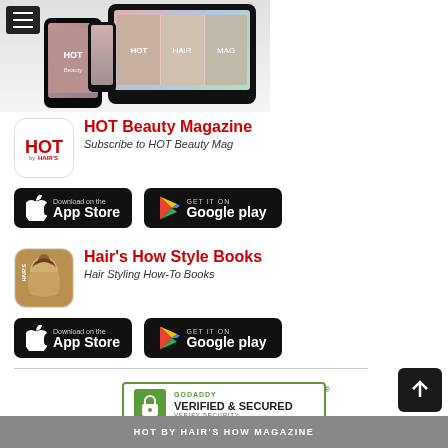[Figure (screenshot): Mobile devices (tablet and phones) showing magazine app screens, with hamburger menu icon top-left]
[Figure (logo): HOT by Hair's logo icon - red and white square icon]
HOT Beauty Magazine
Subscribe to HOT Beauty Mag
[Figure (logo): Download on the App Store button - black rounded rectangle]
[Figure (logo): GET IT ON Google play button - black rounded rectangle]
[Figure (logo): Hair's How Style Books icon - woman with curly hair]
Hair's How Style Books
Hair Styling How-To Books
[Figure (logo): Download on the App Store button - black rounded rectangle]
[Figure (logo): GET IT ON Google play button - black rounded rectangle]
[Figure (logo): GoDaddy Verified & Secured badge with lock icon]
HOT BY HAIR'S HOW MAGAZINE